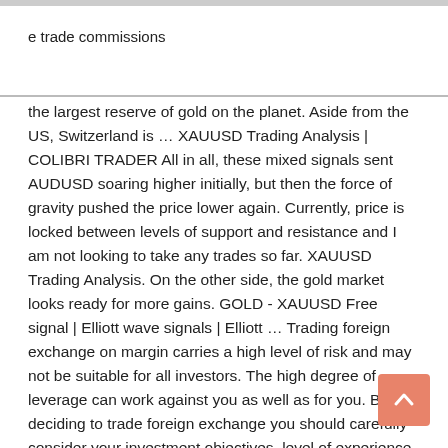e trade commissions
the largest reserve of gold on the planet. Aside from the US, Switzerland is … XAUUSD Trading Analysis | COLIBRI TRADER All in all, these mixed signals sent AUDUSD soaring higher initially, but then the force of gravity pushed the price lower again. Currently, price is locked between levels of support and resistance and I am not looking to take any trades so far. XAUUSD Trading Analysis. On the other side, the gold market looks ready for more gains. GOLD - XAUUSD Free signal | Elliott wave signals | Elliott … Trading foreign exchange on margin carries a high level of risk and may not be suitable for all investors. The high degree of leverage can work against you as well as for you. Before deciding to trade foreign exchange you should carefully consider your investment objectives, level of experience, and risk appetite. Trading Signals - Page 1 of 2 Page 1 of 2: Trading Signals - Free Forex trading signals. Signals should be real live signals or else trading results, with supporting proof, of trades taken from. Page 1 of 2: Trading Signals - Free Forex trading signals. GOLD - XAUUSD. Started by